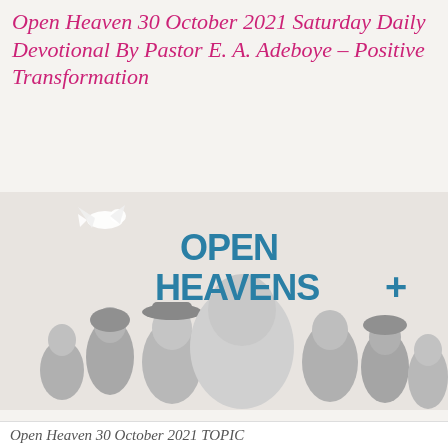Open Heaven 30 October 2021 Saturday Daily Devotional By Pastor E. A. Adeboye – Positive Transformation
[Figure (photo): Open Heavens+ promotional image showing a group of people including Pastor E. A. Adeboye and other individuals in black and white, with a dove flying above, and the text 'OPEN HEAVENS+' in bold teal/blue letters]
Open Heaven 30 October 2021 TOPIC